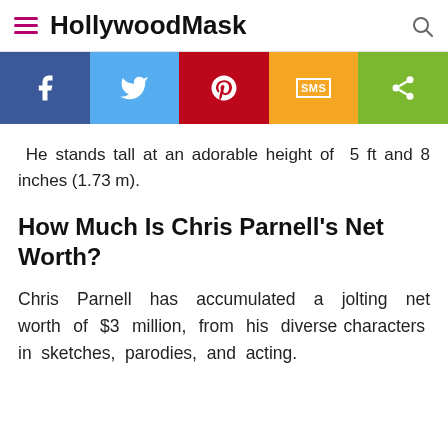HollywoodMask
[Figure (infographic): Social sharing bar with Facebook, Twitter, Pinterest, SMS, and Share buttons]
He stands tall at an adorable height of 5 ft and 8 inches (1.73 m).
How Much Is Chris Parnell's Net Worth?
Chris Parnell has accumulated a jolting net worth of $3 million, from his diverse characters in sketches, parodies, and acting.